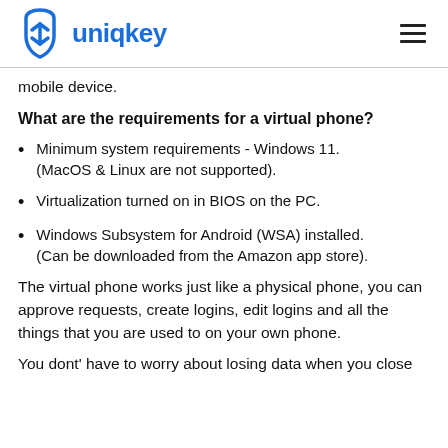uniqkey
mobile device.
What are the requirements for a virtual phone?
Minimum system requirements - Windows 11. (MacOS & Linux are not supported).
Virtualization turned on in BIOS on the PC.
Windows Subsystem for Android (WSA) installed. (Can be downloaded from the Amazon app store).
The virtual phone works just like a physical phone, you can approve requests, create logins, edit logins and all the things that you are used to on your own phone.
You dont' have to worry about losing data when you close